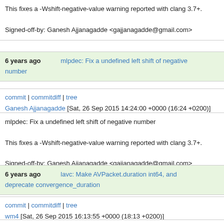This fixes a -Wshift-negative-value warning reported with clang 3.7+.

Signed-off-by: Ganesh Ajjanagadde <gajjanagadde@gmail.com>
6 years ago   mlpdec: Fix a undefined left shift of negative number
commit | commitdiff | tree
Ganesh Ajjanagadde [Sat, 26 Sep 2015 14:24:00 +0000 (16:24 +0200)]
mlpdec: Fix a undefined left shift of negative number

This fixes a -Wshift-negative-value warning reported with clang 3.7+.

Signed-off-by: Ganesh Ajjanagadde <gajjanagadde@gmail.com>
6 years ago   lavc: Make AVPacket.duration int64, and deprecate convergence_duration
commit | commitdiff | tree
wm4 [Sat, 26 Sep 2015 16:13:55 +0000 (18:13 +0200)]
lavc: Make AVPacket.duration int64, and deprecate convergence_duration